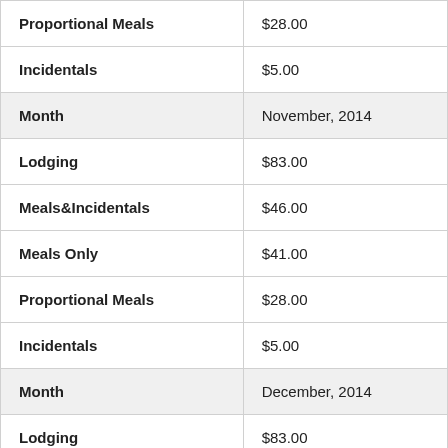| Proportional Meals | $28.00 |
| Incidentals | $5.00 |
| Month | November, 2014 |
| Lodging | $83.00 |
| Meals&Incidentals | $46.00 |
| Meals Only | $41.00 |
| Proportional Meals | $28.00 |
| Incidentals | $5.00 |
| Month | December, 2014 |
| Lodging | $83.00 |
| Meals&Incidentals | $46.00 |